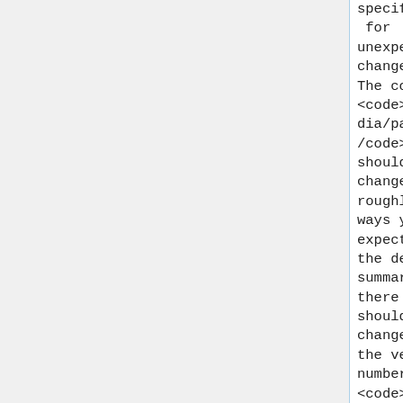specifically for unexpected changes. The code in <code>wikimedia/parsoid</code> should change in roughly the ways you expect from the deploy summary, there should be a change to the version number in <code>composer.json</cod
specifically for unexpected changes. The code in <code>wikimedia/parsoid</code> should change in roughly the ways you expect from the deploy summary, there should be a change to the version number in <code>composer.json</cod